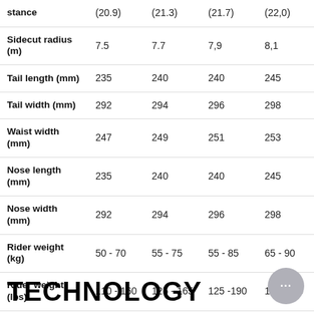|  | Col1 | Col2 | Col3 | Col4 |
| --- | --- | --- | --- | --- |
| stance | (20.9) | (21.3) | (21.7) | (22,0) |
| Sidecut radius (m) | 7.5 | 7.7 | 7,9 | 8,1 |
| Tail length (mm) | 235 | 240 | 240 | 245 |
| Tail width (mm) | 292 | 294 | 296 | 298 |
| Waist width (mm) | 247 | 249 | 251 | 253 |
| Nose length (mm) | 235 | 240 | 240 | 245 |
| Nose width (mm) | 292 | 294 | 296 | 298 |
| Rider weight (kg) | 50 - 70 | 55 - 75 | 55 - 85 | 65 - 90 |
| Rider weight (lbs) | 110 - 160 | 125 - 165 | 125 -190 | 140 -195 |
TECHNOLOGY